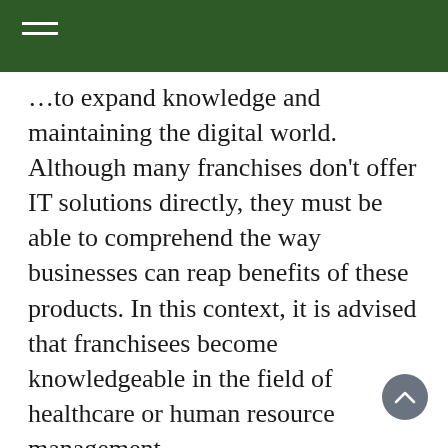…to expand knowledge and maintaining the digital world. Although many franchises don't offer IT solutions directly, they must be able to comprehend the way businesses can reap benefits of these products. In this context, it is advised that franchisees become knowledgeable in the field of healthcare or human resource management.
IT Franchise owners may be the best option for those that are passionate about technology. With the growing demand for IT services, a prospective franchisee can take advantage of promotions and pricing offered by providers that can lower the cost for starting up. The IT industry is set to